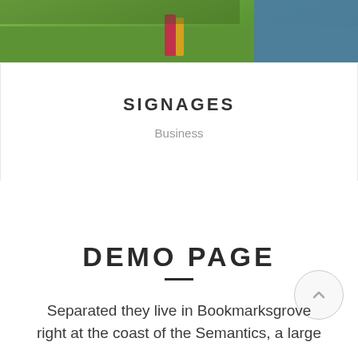[Figure (photo): Outdoor photo showing green grass, colorful posts (red/pink and yellow), and a blue wall on the right side]
SIGNAGES
Business
DEMO PAGE
Separated they live in Bookmarksgrove right at the coast of the Semantics, a large